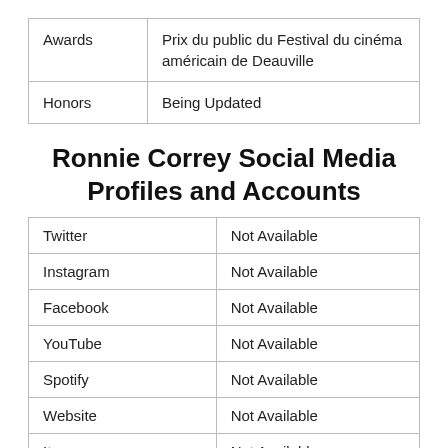| Awards | Prix du public du Festival du cinéma américain de Deauville |
| Honors | Being Updated |
Ronnie Correy Social Media Profiles and Accounts
| Twitter | Not Available |
| Instagram | Not Available |
| Facebook | Not Available |
| YouTube | Not Available |
| Spotify | Not Available |
| Website | Not Available |
| Itunes | Not Available |